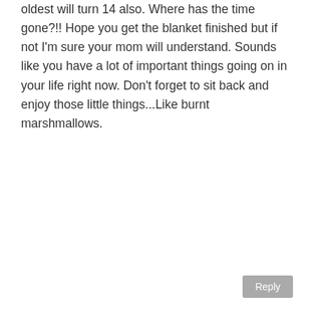oldest will turn 14 also. Where has the time gone?!! Hope you get the blanket finished but if not I'm sure your mom will understand. Sounds like you have a lot of important things going on in your life right now. Don't forget to sit back and enjoy those little things...Like burnt marshmallows.
Reply
L. BUCHHOLZ
8:26 am
Wow that will be a very treasured gift by your mom! You have done so much of it already, way to go!!!
Reply